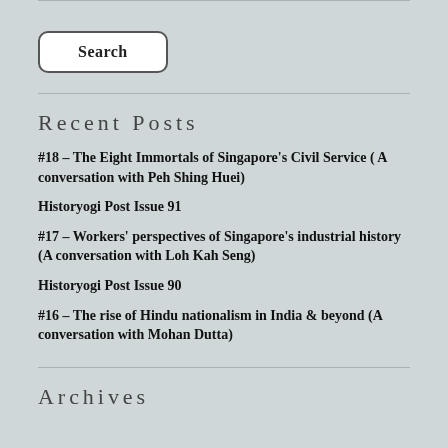[Figure (other): Search button — white rounded rectangle with bold 'Search' label]
Recent Posts
#18 – The Eight Immortals of Singapore's Civil Service ( A conversation with Peh Shing Huei)
Historyogi Post Issue 91
#17 – Workers' perspectives of Singapore's industrial history (A conversation with Loh Kah Seng)
Historyogi Post Issue 90
#16 – The rise of Hindu nationalism in India & beyond (A conversation with Mohan Dutta)
Archives